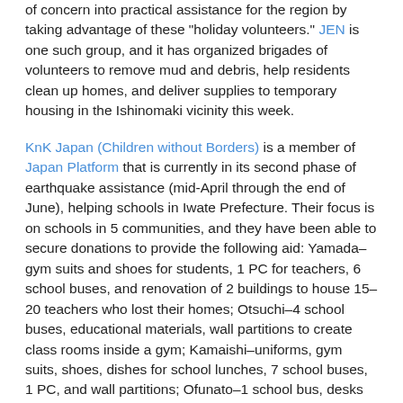of concern into practical assistance for the region by taking advantage of these "holiday volunteers." JEN is one such group, and it has organized brigades of volunteers to remove mud and debris, help residents clean up homes, and deliver supplies to temporary housing in the Ishinomaki vicinity this week.
KnK Japan (Children without Borders) is a member of Japan Platform that is currently in its second phase of earthquake assistance (mid-April through the end of June), helping schools in Iwate Prefecture. Their focus is on schools in 5 communities, and they have been able to secure donations to provide the following aid: Yamada–gym suits and shoes for students, 1 PC for teachers, 6 school buses, and renovation of 2 buildings to house 15–20 teachers who lost their homes; Otsuchi–4 school buses, educational materials, wall partitions to create class rooms inside a gym; Kamaishi–uniforms, gym suits, shoes, dishes for school lunches, 7 school buses, 1 PC, and wall partitions; Ofunato–1 school bus, desks and chairs for teachers; Rikuzentakata–water and sanitation system for schools. They have also distributed 3.5 tons of small items (blankets, diapers, sports equipment, chocolate, etc.) and are helping a newly established NGO in Rikuzentakata. Plans are now underway for